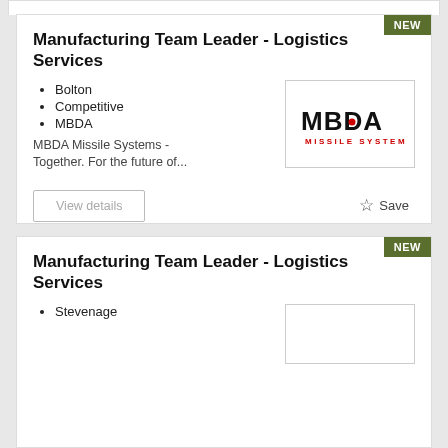Manufacturing Team Leader - Logistics Services
Bolton
Competitive
MBDA
[Figure (logo): MBDA Missile Systems logo — black bold text MBDA with red dot, red subtitle MISSILE SYSTEMS]
MBDA Missile Systems - Together. For the future of...
Manufacturing Team Leader - Logistics Services
Stevenage